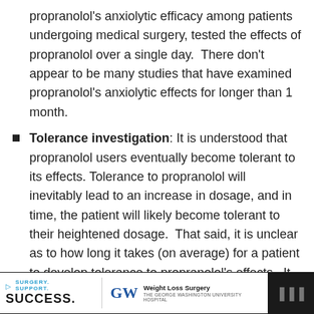propranolol's anxiolytic efficacy among patients undergoing medical surgery, tested the effects of propranolol over a single day.  There don't appear to be many studies that have examined propranolol's anxiolytic effects for longer than 1 month.
Tolerance investigation: It is understood that propranolol users eventually become tolerant to its effects. Tolerance to propranolol will inevitably lead to an increase in dosage, and in time, the patient will likely become tolerant to their heightened dosage.  That said, it is unclear as to how long it takes (on average) for a patient to develop tolerance to propranolol's effects.  It may be helpful to learn whether tolerance to propranolol can be avoided or delayed with strategic dosing protocols (e.g. taking it
[Figure (other): Advertisement banner: Surgery. Support. SUCCESS. GW Weight Loss Surgery The George Washington University Hospital, with dark background on right side]